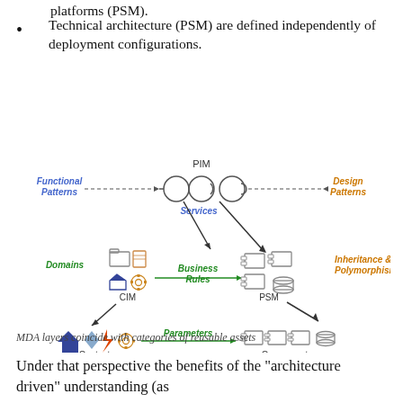Technical architecture (PSM) are defined independently of deployment configurations.
[Figure (schematic): MDA architecture diagram showing three layers: PIM (Platform Independent Model) at top with Services and circle UML components, CIM (Computation Independent Model) in middle with Domains showing folder/book/gear icons, and Context at bottom with house/diamond/lightning/sun icons. Arrows show flow via Business Rules to PSM layer with Inheritance & Polymorphism, and Parameters arrow to Components layer. Functional Patterns and Design Patterns labeled on sides. Green italic labels for Domains, Business Rules, Parameters; orange italic for Design Patterns, Inheritance & Polymorphism; blue italic for Functional Patterns, Services.]
MDA layers coincide with categories of reusable assets
Under that perspective the benefits of the “architecture driven” understanding (as